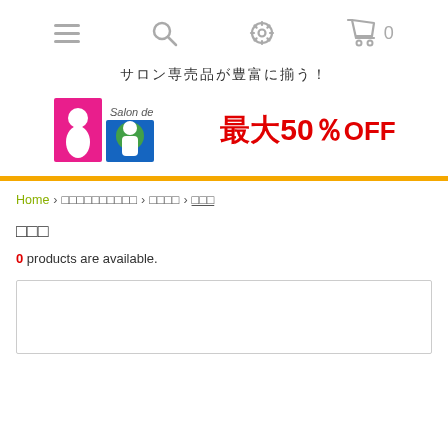Navigation bar with hamburger menu, search, settings, and cart icons
[Figure (logo): Salon de Ryo banner with logo and 最大50%OFF promotional text]
サロン専売品が豊富に揃う！
Home > □□□□□□□□□□ > □□□□ > □□□
□□□
0 products are available.